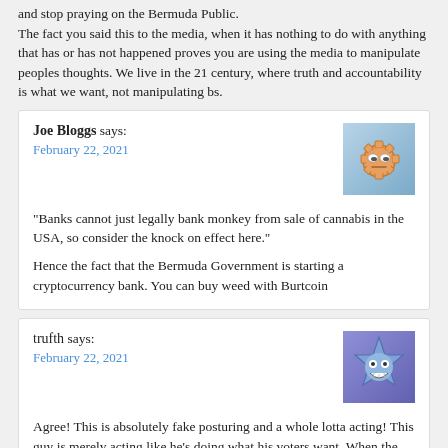and stop praying on the Bermuda Public. The fact you said this to the media, when it has nothing to do with anything that has or has not happened proves you are using the media to manipulate peoples thoughts. We live in the 21 century, where truth and accountability is what we want, not manipulating bs.
Joe Bloggs says: February 22, 2021
[Figure (illustration): Avatar image of a cartoon gear/cog face with a neutral expression, orange/gold color on a blue-gray gradient background]
“Banks cannot just legally bank monkey from sale of cannabis in the USA, so consider the knock on effect here.”

Hence the fact that the Bermuda Government is starting a cryptocurrency bank. You can buy weed with Burtcoin
trufth says: February 22, 2021
[Figure (illustration): Avatar image of a blue spiky star-shaped cartoon character with a grinning face, on a purple gradient background]
Agree! This is absolutely fake posturing and a whole lotta acting! This guy is merely acting like he’s doing what his voters want. When the UK denies him, he will go to his voters and say “I tried, I tried so so very hard for my people, boo